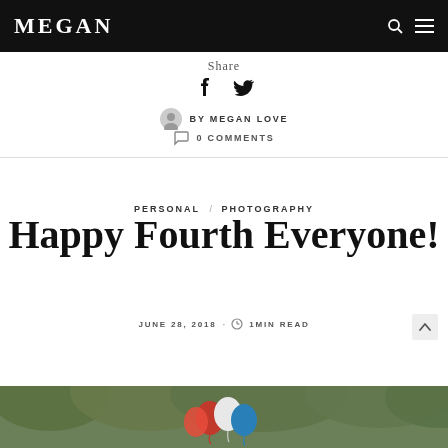MEGAN
Share
BY MEGAN LOVE
0 COMMENTS
PERSONAL / PHOTOGRAPHY
Happy Fourth Everyone!
JUNE 28, 2018 · 1MIN READ
[Figure (photo): Photo strip at bottom showing greenery/trees background with red, white, and blue balloons partially visible]